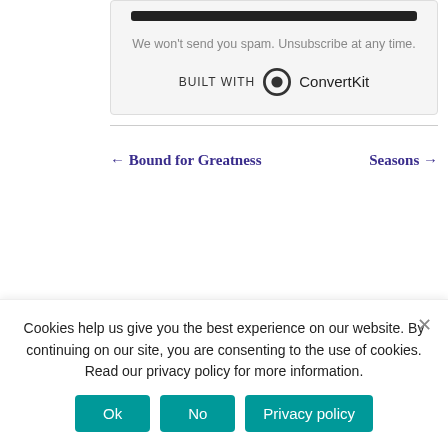[Figure (screenshot): ConvertKit form bottom section showing dark bar, spam disclaimer text, and 'Built with ConvertKit' branding with circular logo]
We won't send you spam. Unsubscribe at any time.
BUILT WITH ConvertKit
0
SHARES
[Figure (other): Facebook share button with white 'f' icon on blue background]
[Figure (other): Twitter share button with white bird icon on light blue background]
[Figure (other): Pinterest save button with white 'P' icon on red background]
← Bound for Greatness
Seasons →
Cookies help us give you the best experience on our website. By continuing on our site, you are consenting to the use of cookies. Read our privacy policy for more information.
Ok
No
Privacy policy